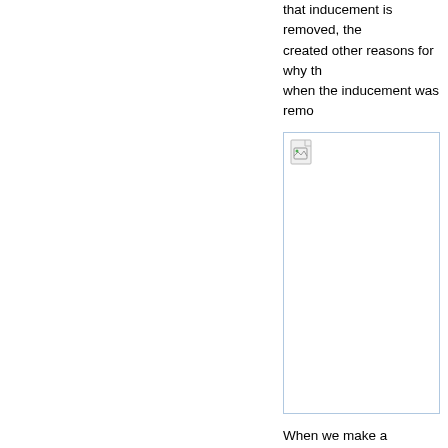that inducement is removed, the commitment has created other reasons for why they were acting when the inducement was remo...
[Figure (photo): An image (broken/placeholder) embedded in the document, shown with a broken image icon inside a light-blue bordered box.]
When we make a commitment to something, we are acting in that way. The pattern is the result of our tendency to generate more reasons to start using low-ball techniques to... sales all the time). It does, however... principles can be used to influent... might involve asking people to...